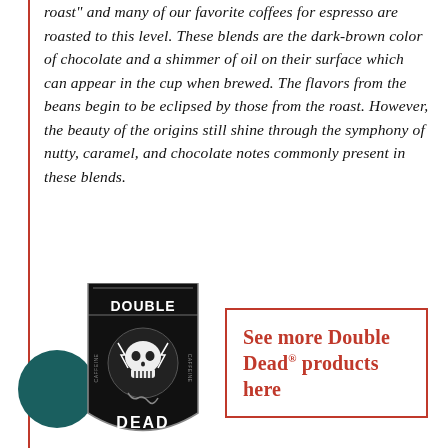roast" and many of our favorite coffees for espresso are roasted to this level. These blends are the dark-brown color of chocolate and a shimmer of oil on their surface which can appear in the cup when brewed. The flavors from the beans begin to be eclipsed by those from the roast. However, the beauty of the origins still shine through the symphony of nutty, caramel, and chocolate notes commonly present in these blends.
[Figure (logo): Double Dead coffee brand badge/label with skull imagery, dark background, and 'DOUBLE DEAD' text]
[Figure (illustration): Dark teal/green circular chat bubble icon]
See more Double Dead® products here